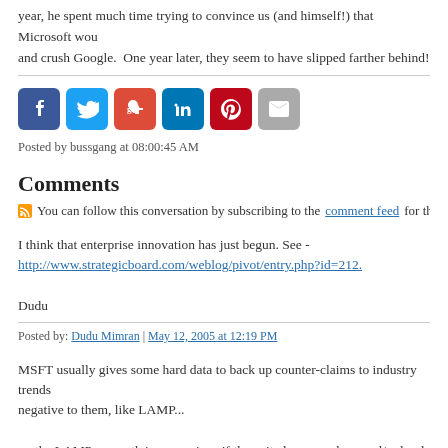year, he spent much time trying to convince us (and himself!) that Microsoft wou and crush Google.  One year later, they seem to have slipped farther behind!
[Figure (infographic): Social sharing buttons: Facebook (blue), Twitter (light blue), Google+ (red), LinkedIn (dark blue), Pinterest (red), Email (gray)]
Posted by bussgang at 08:00:45 AM
Comments
You can follow this conversation by subscribing to the comment feed for this p
I think that enterprise innovation has just begun. See - http://www.strategicboard.com/weblog/pivot/entry.php?id=212.

Dudu
Posted by: Dudu Mimran | May 12, 2005 at 12:19 PM
MSFT usually gives some hard data to back up counter-claims to industry trends negative to them, like LAMP...

on the LAMP vs. myth issue, curious if they cited any numbers and/or hard data.
Posted by: Michael Parekh | May 13, 2005 at 07:42 AM